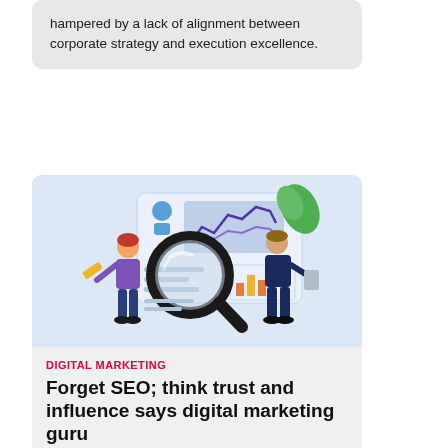hampered by a lack of alignment between corporate strategy and execution excellence.
[Figure (illustration): Illustration of two people with a large magnifying glass looking at dashboard/analytics screens with charts and data, representing digital marketing and SEO analysis.]
DIGITAL MARKETING
Forget SEO; think trust and influence says digital marketing guru
We chat with Australian digital marketing pioneer Ian Hopkinson who provides bold, provocative insights...